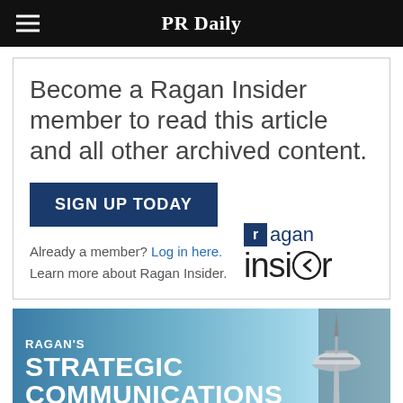PR Daily
Become a Ragan Insider member to read this article and all other archived content.
SIGN UP TODAY
Already a member? Log in here.
Learn more about Ragan Insider.
[Figure (logo): Ragan Insider logo with blue square containing 'r' and the word 'insider' in large gray text]
[Figure (photo): Ragan's Strategic Communications Conference banner with Seattle Space Needle in the background]